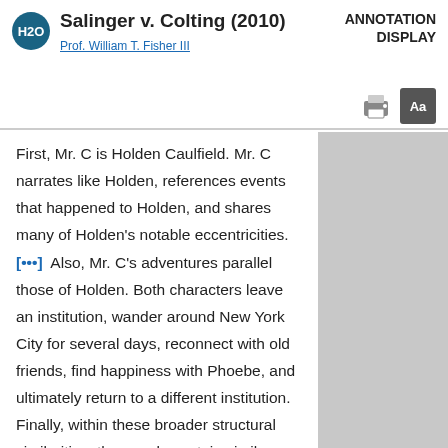H20  Salinger v. Colting (2010)  ANNOTATION DISPLAY
Prof. William T. Fisher III
First, Mr. C is Holden Caulfield. Mr. C narrates like Holden, references events that happened to Holden, and shares many of Holden's notable eccentricities. [...] Also, Mr. C's adventures parallel those of Holden. Both characters leave an institution, wander around New York City for several days, reconnect with old friends, find happiness with Phoebe, and ultimately return to a different institution. Finally, within these broader structural similarities, the novels contain similar scenes, such as a climactic carousel scene. [...]